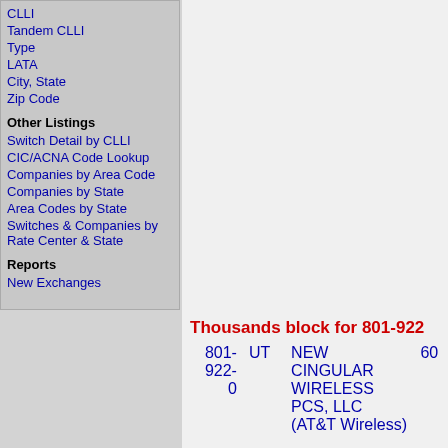CLLI
Tandem CLLI
Type
LATA
City, State
Zip Code
Other Listings
Switch Detail by CLLI
CIC/ACNA Code Lookup
Companies by Area Code
Companies by State
Area Codes by State
Switches & Companies by Rate Center & State
Reports
New Exchanges
Thousands block for 801-922
| Number | State | Company | Code |
| --- | --- | --- | --- |
| 801-922-0 | UT | NEW CINGULAR WIRELESS PCS, LLC (AT&T Wireless) | 60 |